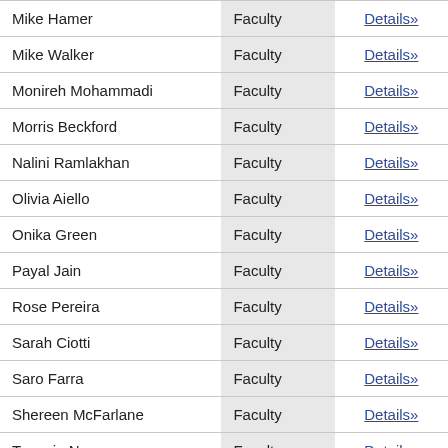| Name | Role |  |
| --- | --- | --- |
| Mike Hamer | Faculty | Details» |
| Mike Walker | Faculty | Details» |
| Monireh Mohammadi | Faculty | Details» |
| Morris Beckford | Faculty | Details» |
| Nalini Ramlakhan | Faculty | Details» |
| Olivia Aiello | Faculty | Details» |
| Onika Green | Faculty | Details» |
| Payal Jain | Faculty | Details» |
| Rose Pereira | Faculty | Details» |
| Sarah Ciotti | Faculty | Details» |
| Saro Farra | Faculty | Details» |
| Shereen McFarlane | Faculty | Details» |
| Tammie Norn | Faculty | Details» |